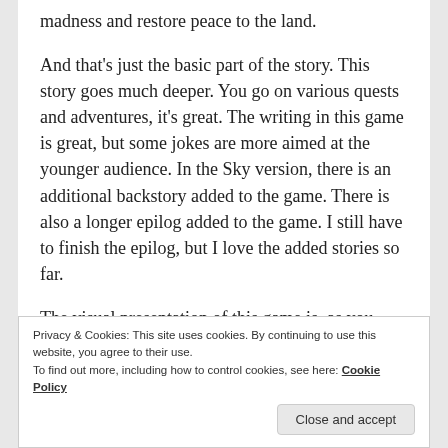madness and restore peace to the land.
And that’s just the basic part of the story. This story goes much deeper. You go on various quests and adventures, it’s great. The writing in this game is great, but some jokes are more aimed at the younger audience. In the Sky version, there is an additional backstory added to the game. There is also a longer epilog added to the game. I still have to finish the epilog, but I love the added stories so far.
The visual presentation of this game is, as you would expect from a Nintendo game, excellent. I can
Privacy & Cookies: This site uses cookies. By continuing to use this website, you agree to their use.
To find out more, including how to control cookies, see here: Cookie Policy
Close and accept